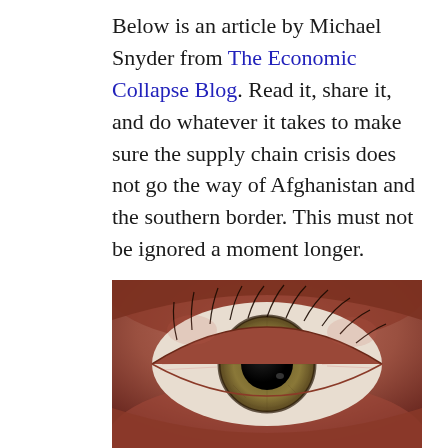Below is an article by Michael Snyder from The Economic Collapse Blog. Read it, share it, and do whatever it takes to make sure the supply chain crisis does not go the way of Afghanistan and the southern border. This must not be ignored a moment longer.
[Figure (photo): Close-up macro photograph of a human eye with a green-brown iris, black pupil, and visible eyelashes and skin texture around the eye.]